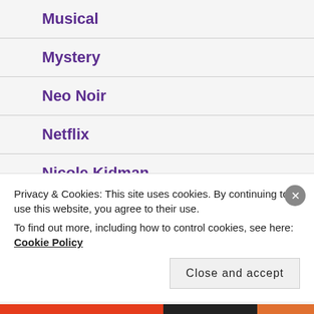Musical
Mystery
Neo Noir
Netflix
Nicole Kidman
Noir
Privacy & Cookies: This site uses cookies. By continuing to use this website, you agree to their use.
To find out more, including how to control cookies, see here: Cookie Policy
Close and accept